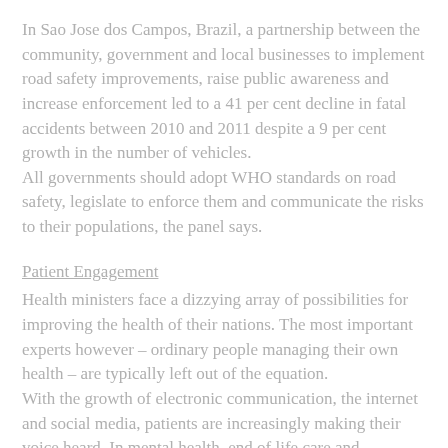In Sao Jose dos Campos, Brazil, a partnership between the community, government and local businesses to implement road safety improvements, raise public awareness and increase enforcement led to a 41 per cent decline in fatal accidents between 2010 and 2011 despite a 9 per cent growth in the number of vehicles. All governments should adopt WHO standards on road safety, legislate to enforce them and communicate the risks to their populations, the panel says.
Patient Engagement
Health ministers face a dizzying array of possibilities for improving the health of their nations. The most important experts however – ordinary people managing their own health – are typically left out of the equation. With the growth of electronic communication, the internet and social media, patients are increasingly making their voice heard. In mental health, end of life care and antimicrobial